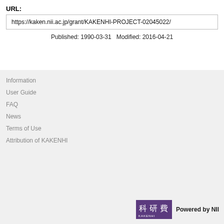URL:
https://kaken.nii.ac.jp/grant/KAKENHI-PROJECT-02045022/
Published: 1990-03-31   Modified: 2016-04-21
Information
User Guide
FAQ
News
Terms of Use
Attribution of KAKENHI
Powered by NII